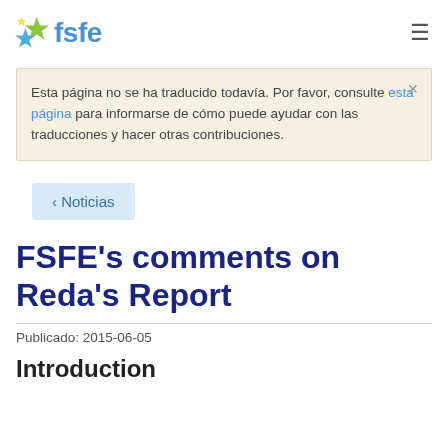fsfe
Esta página no se ha traducido todavía. Por favor, consulte esta página para informarse de cómo puede ayudar con las traducciones y hacer otras contribuciones.
‹ Noticias
FSFE's comments on Reda's Report
Publicado: 2015-06-05
Introduction